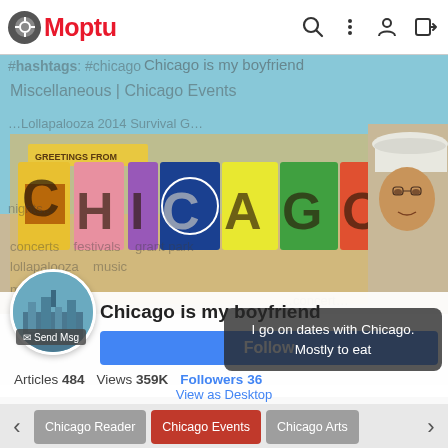Moptu — navigation bar with logo, search, menu, profile, and login icons
[Figure (screenshot): Chicago murral/postcard artwork with large CHICAGO letters in yellow/black 3D block style against a blue sky background, with a portrait of a person wearing a baseball cap on the right side]
[Figure (photo): Circular avatar profile image showing Chicago city skyline]
✉ Send Msg
Chicago is my boyfriend
Follow
Articles 484  Views 359K  Followers 36
I go on dates with Chicago. Mostly to eat
View as Desktop
Chicago Reader  |  Chicago Events  |  Chicago Arts